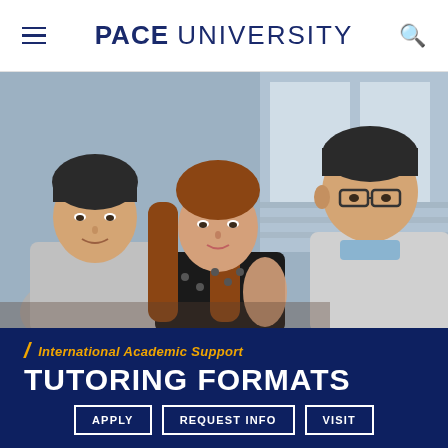PACE UNIVERSITY
[Figure (photo): Three students in a casual academic setting — two males and one female with long reddish-brown hair — sitting around a table, engaged in conversation. The background shows a blurred library or campus interior.]
International Academic Support
TUTORING FORMATS
APPLY | REQUEST INFO | VISIT